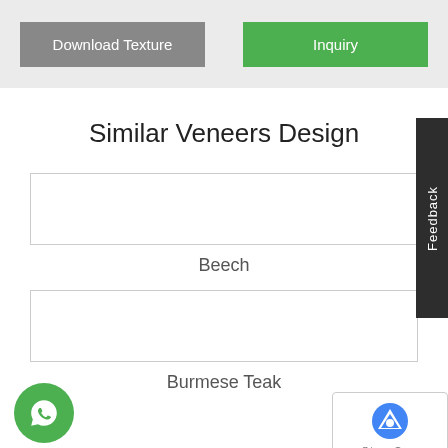[Figure (screenshot): Two buttons side by side: grey 'Download Texture' button on the left and green 'Inquiry' button on the right, on a light grey background bar.]
Similar Veneers Design
[Figure (other): White rectangular product card with thin grey border — veneer sample thumbnail for Beech]
Beech
[Figure (other): White rectangular product card with thin grey border — veneer sample thumbnail for Burmese Teak]
Burmese Teak